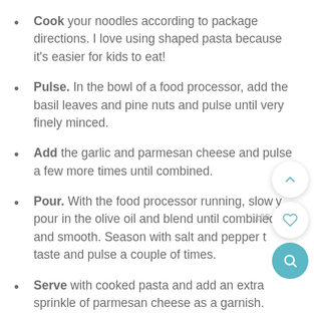Cook your noodles according to package directions. I love using shaped pasta because it's easier for kids to eat!
Pulse. In the bowl of a food processor, add the basil leaves and pine nuts and pulse until very finely minced.
Add the garlic and parmesan cheese and pulse a few more times until combined.
Pour. With the food processor running, slowly pour in the olive oil and blend until combined and smooth. Season with salt and pepper to taste and pulse a couple of times.
Serve with cooked pasta and add an extra sprinkle of parmesan cheese as a garnish.